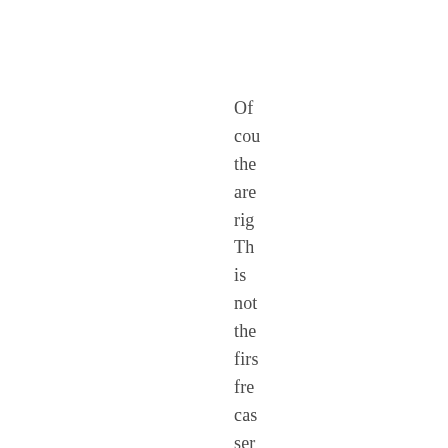Of cou the are rig Th is not the firs fre cas ser on the